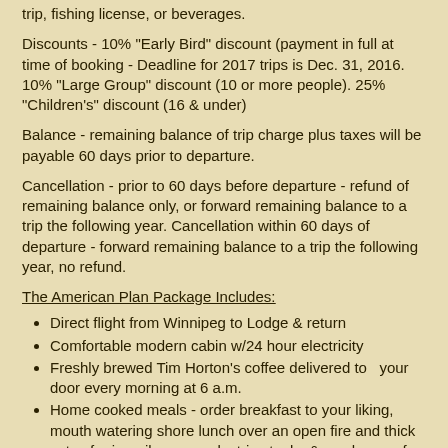trip, fishing license, or beverages.
Discounts - 10% "Early Bird" discount (payment in full at time of booking - Deadline for 2017 trips is Dec. 31, 2016. 10% "Large Group" discount (10 or more people).  25% "Children's" discount (16 & under)
Balance - remaining balance of trip charge plus taxes will be payable 60 days prior to departure.
Cancellation - prior to 60 days before departure - refund of remaining balance only, or forward remaining balance to a trip the following year.  Cancellation within 60 days of departure - forward remaining balance to a trip the following year, no refund.
The American Plan Package Includes:
Direct flight from Winnipeg to Lodge & return
Comfortable modern cabin w/24 hour electricity
Freshly brewed Tim Horton's coffee delivered to   your door every morning at 6 a.m.
Home cooked meals - order breakfast to your liking, mouth watering shore lunch over an open fire and thick cuts of prime rib, new york strip steaks & much more for your evening meals.